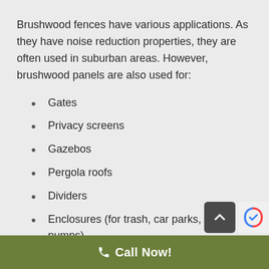Brushwood fences have various applications. As they have noise reduction properties, they are often used in suburban areas. However, brushwood panels are also used for:
Gates
Privacy screens
Gazebos
Pergola roofs
Dividers
Enclosures (for trash, car parks, pool pumps)
Windbreaks
Call Now!